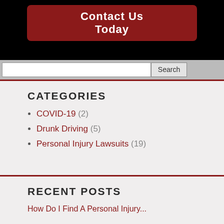[Figure (other): Dark black banner with red button labeled 'Contact Us Today']
Contact Us Today
Search
CATEGORIES
COVID-19 (2)
Drunk Driving (5)
Personal Injury Lawsuits (19)
RECENT POSTS
How Do I Find A Personal Injury...